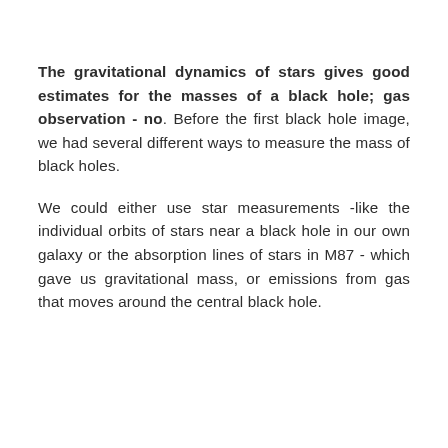The gravitational dynamics of stars gives good estimates for the masses of a black hole; gas observation - no. Before the first black hole image, we had several different ways to measure the mass of black holes.
We could either use star measurements -like the individual orbits of stars near a black hole in our own galaxy or the absorption lines of stars in M87 - which gave us gravitational mass, or emissions from gas that moves around the central black hole.